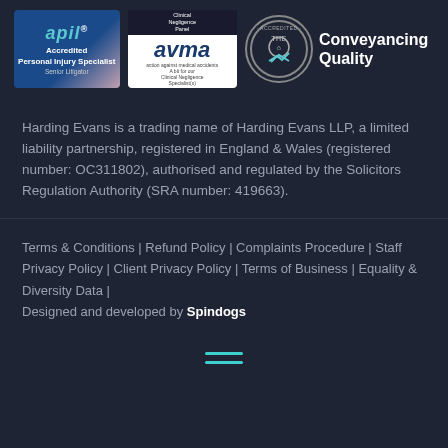[Figure (logo): Three accreditation logos: APIL Accredited Personal Injury Specialist Senior Litigator, AVMA Clinical Negligence Panel, and Conveyancing Quality accredited badge]
Harding Evans is a trading name of Harding Evans LLP, a limited liability partnership, registered in England & Wales (registered number: OC311802), authorised and regulated by the Solicitors Regulation Authority (SRA number: 419663).
Terms & Conditions | Refund Policy | Complaints Procedure | Staff Privacy Policy | Client Privacy Policy | Terms of Business | Equality & Diversity Data | Designed and developed by Spindogs